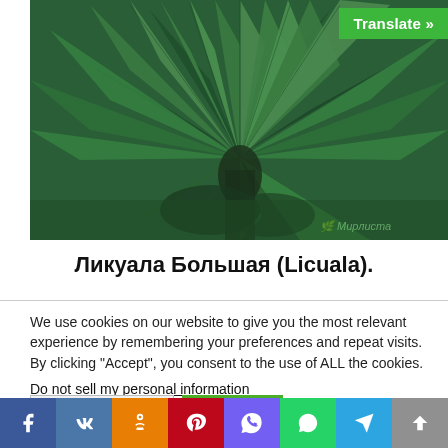[Figure (photo): Close-up photo of large fan palm (Licuala grandis) leaves with radiating fronds, green and blue-green tones, with a watermark in the bottom right corner.]
Translate »
Ликуала Большая (Licuala).
We use cookies on our website to give you the most relevant experience by remembering your preferences and repeat visits. By clicking "Accept", you consent to the use of ALL the cookies.
Do not sell my personal information.
Cookie Settings
Accept